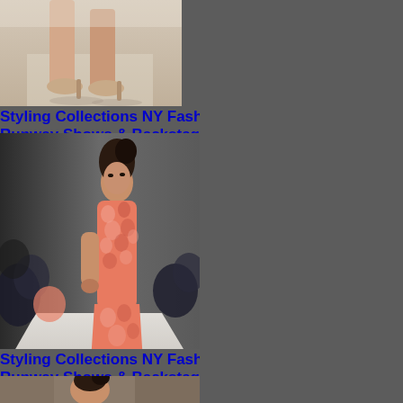[Figure (photo): Close-up photo of a model's legs and high-heeled nude pumps on a runway floor]
Styling Collections NY Fashion Week
Runway Shows & Backstage Productions
[Figure (photo): Model wearing an intricate coral/red lace or crochet patterned dress on a runway, with audience seated in background]
Styling Collections NY Fashion Week
Runway Shows & Backstage Productions
[Figure (photo): Partial view of another fashion show photo at the bottom, showing a model with an updo hairstyle]